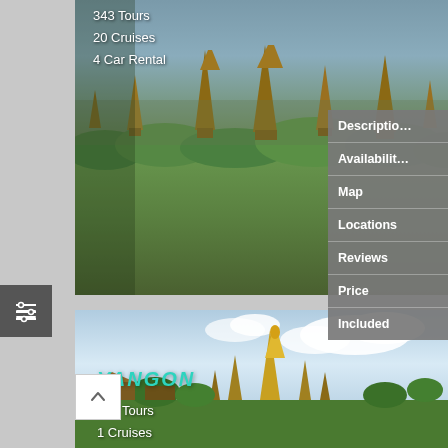[Figure (photo): Aerial view of ancient Bagan pagodas and temples among green forest, Myanmar]
343 Tours
20 Cruises
4 Car Rental
Description
Availability
Map
Locations
Reviews
Price
Included
[Figure (photo): Yangon cityscape with Shwedagon Pagoda under cloudy blue sky, Myanmar]
YANGON
343 Tours
1 Cruises
6 Car Rental